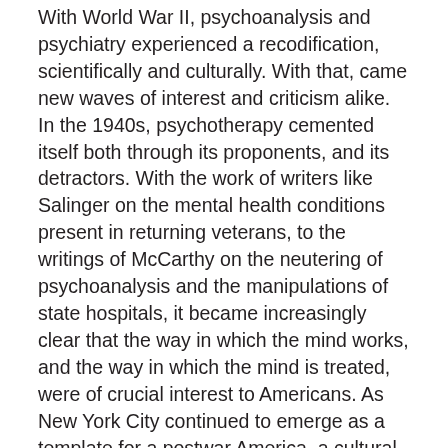With World War II, psychoanalysis and psychiatry experienced a recodification, scientifically and culturally. With that, came new waves of interest and criticism alike. In the 1940s, psychotherapy cemented itself both through its proponents, and its detractors. With the work of writers like Salinger on the mental health conditions present in returning veterans, to the writings of McCarthy on the neutering of psychoanalysis and the manipulations of state hospitals, it became increasingly clear that the way in which the mind works, and the way in which the mind is treated, were of crucial interest to Americans. As New York City continued to emerge as a template for a postwar America–a cultural, political, and scientific hub–the discussions of mental health and institutional administration that occurred there carried immense weight for the rest of Americans. Those prominent New Yorkers who did criticize psychiatry, helped it grow, giving it a cultural position to be accountable to, and a narrative to be in conversation with.
Through the Jazz Age, the Depression, the Second World